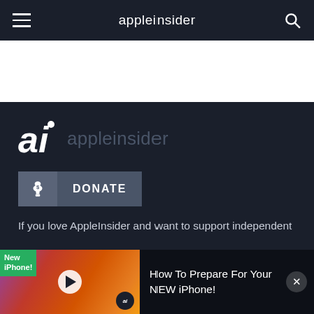appleinsider
[Figure (screenshot): White advertisement banner area]
[Figure (logo): AppleInsider 'ai' logo with brand name]
DONATE
If you love AppleInsider and want to support independent publications, please consider a small donation.
[Figure (screenshot): Video thumbnail: 'How To Prepare For Your NEW iPhone!' with play button overlay, New iPhone badge, and AI logo badge]
How To Prepare For Your NEW iPhone!